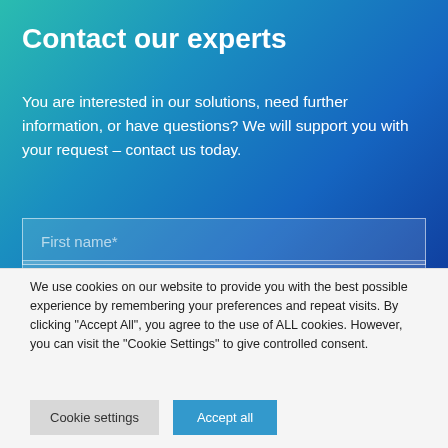Contact our experts
You are interested in our solutions, need further information, or have questions? We will support you with your request – contact us today.
First name*
We use cookies on our website to provide you with the best possible experience by remembering your preferences and repeat visits. By clicking "Accept All", you agree to the use of ALL cookies. However, you can visit the "Cookie Settings" to give controlled consent.
Cookie settings
Accept all